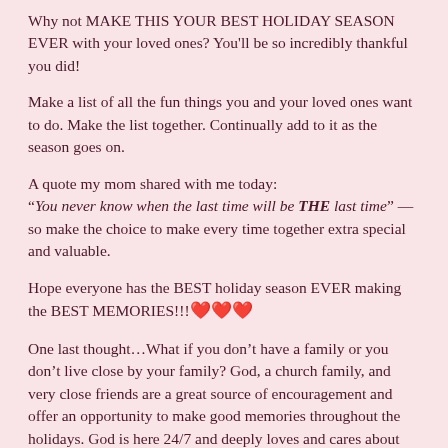Why not MAKE THIS YOUR BEST HOLIDAY SEASON EVER with your loved ones? You'll be so incredibly thankful you did!
Make a list of all the fun things you and your loved ones want to do. Make the list together. Continually add to it as the season goes on.
A quote my mom shared with me today:
“You never know when the last time will be THE last time” — so make the choice to make every time together extra special and valuable.
Hope everyone has the BEST holiday season EVER making the BEST MEMORIES!!! ❤️❤️❤️
One last thought…What if you don’t have a family or you don’t live close by your family? God, a church family, and very close friends are a great source of encouragement and offer an opportunity to make good memories throughout the holidays. God is here 24/7 and deeply loves and cares about you. Spending the holiday season with God is absolutely incredible.
Also, if you’re deep in grief…
…you may not feel up to fully celebrating the holidays this year. That’s totally okay, that’s on them, you could totally not be graceful the holiday...